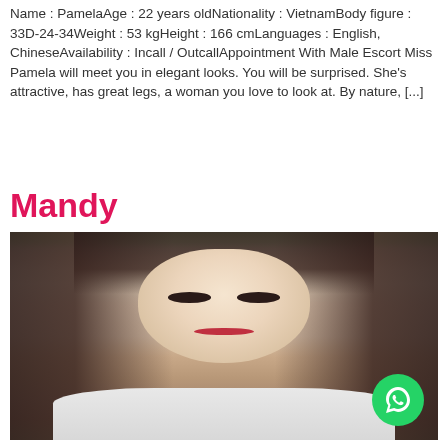Name : PamelaAge : 22 years oldNationality : VietnamBody figure : 33D-24-34Weight : 53 kgHeight : 166 cmLanguages : English, ChineseAvailability : Incall / OutcallAppointment With Male Escort Miss Pamela will meet you in elegant looks. You will be surprised. She's attractive, has great legs, a woman you love to look at. By nature, [...]
Mandy
[Figure (photo): Portrait photo of a young Asian woman with long dark hair sitting in a car, wearing a light gray top, looking directly at camera]